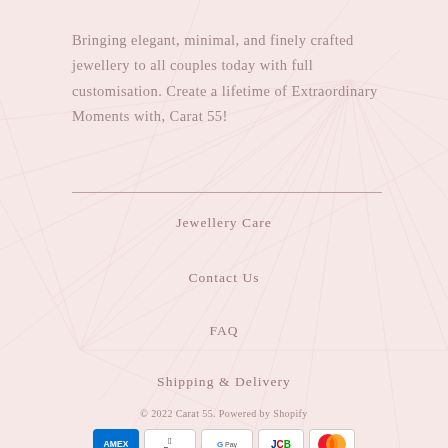Bringing elegant, minimal, and finely crafted jewellery to all couples today with full customisation. Create a lifetime of Extraordinary Moments with, Carat 55!
Jewellery Care
Contact Us
FAQ
Shipping & Delivery
© 2022 Carat 55. Powered by Shopify
[Figure (other): Payment method icons: American Express (AMEX), Apple Pay, Google Pay, JCB, Mastercard]